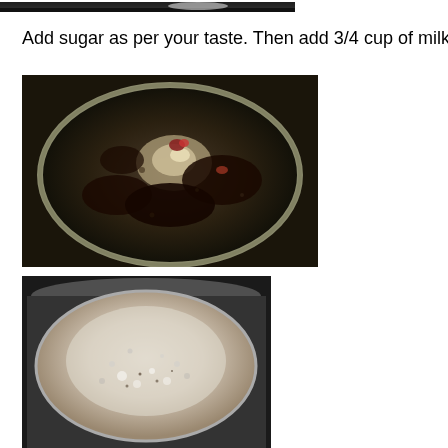[Figure (photo): Partial view of a dark cooking pot with dark mixture, cropped at top of page]
Add sugar as per your taste.  Then add 3/4 cup of milk.
[Figure (photo): Top-down view of a cooking pot with dark boiling mixture, spices, and dark liquid visible]
[Figure (photo): Top-down view of a cooking pot with creamy white boiling liquid/milk mixture]